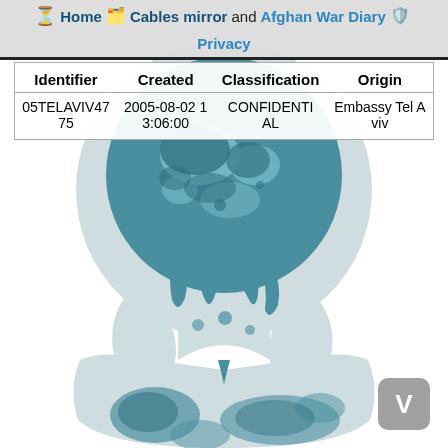Home  Cables mirror and Afghan War Diary  Privacy
[Figure (illustration): WikiLeaks hourglass logo featuring a stylized globe dripping into an hourglass shape, in teal and light gray colors, on a white background]
| Identifier | Created | Classification | Origin |
| --- | --- | --- | --- |
| 05TELAVIV4775 | 2005-08-02 13:06:00 | CONFIDENTIAL | Embassy Tel Aviv |